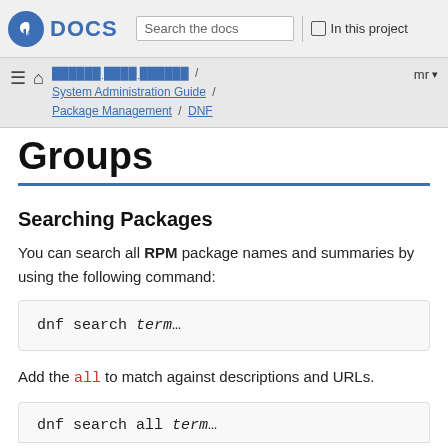Fedora DOCS | Search the docs | In this project
Fedora User Docs / System Administration Guide / Package Management / DNF
Groups
Searching Packages
You can search all RPM package names and summaries by using the following command:
Add the all to match against descriptions and URLs.